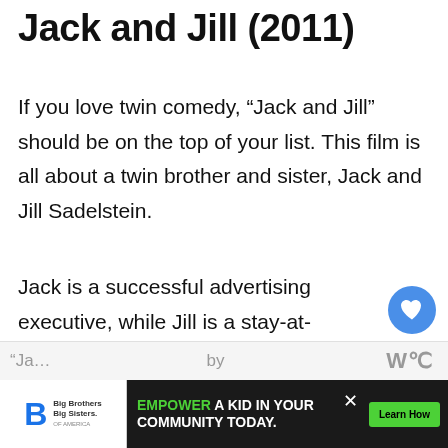Jack and Jill (2011)
If you love twin comedy, “Jack and Jill” should be on the top of your list. This film is all about a twin brother and sister, Jack and Jill Sadelstein.
Jack is a successful advertising executive, while Jill is a stay-at-home mom. When Jac… wife decides to take a trip to Africa, he is forced to spend Thanksgiving with…